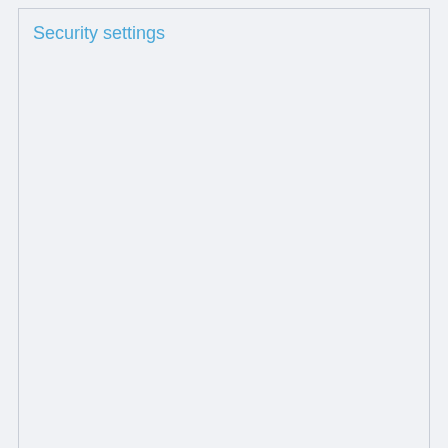Security settings
Import / Export
Import data
Importsheet tabs
Exporting data